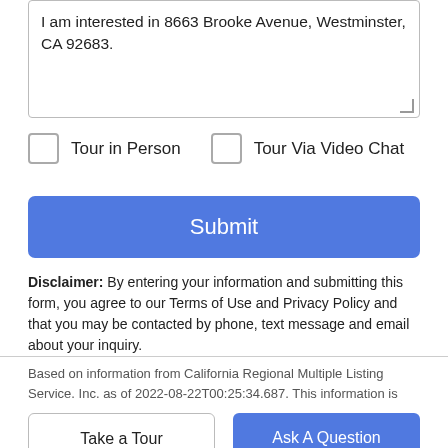I am interested in 8663 Brooke Avenue, Westminster, CA 92683.
Tour in Person   Tour Via Video Chat
Submit
Disclaimer: By entering your information and submitting this form, you agree to our Terms of Use and Privacy Policy and that you may be contacted by phone, text message and email about your inquiry.
Based on information from California Regional Multiple Listing Service. Inc. as of 2022-08-22T00:25:34.687. This information is
Take a Tour
Ask A Question